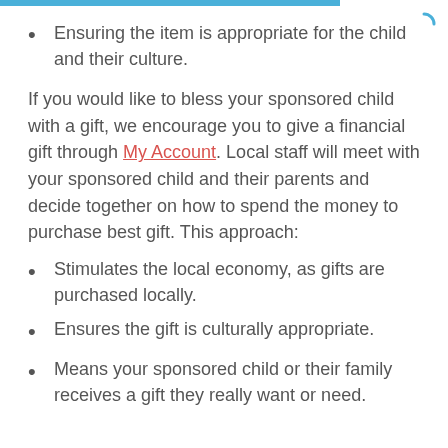Ensuring the item is appropriate for the child and their culture.
If you would like to bless your sponsored child with a gift, we encourage you to give a financial gift through My Account. Local staff will meet with your sponsored child and their parents and decide together on how to spend the money to purchase best gift. This approach:
Stimulates the local economy, as gifts are purchased locally.
Ensures the gift is culturally appropriate.
Means your sponsored child or their family receives a gift they really want or need.